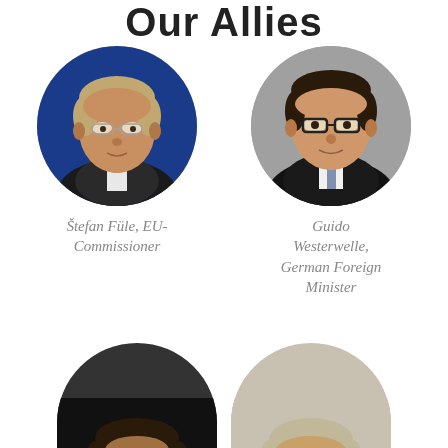Our Allies
[Figure (photo): Circular portrait photo of Štefan Füle, EU-Commissioner]
Štefan Füle, EU-Commissioner
[Figure (photo): Circular portrait photo of Guido Westerwelle, German Foreign Minister]
Guido Westerwelle, German Foreign Minister
[Figure (photo): Circular portrait photo (partially visible, bottom of page) of a person, left side]
[Figure (photo): Circular portrait photo (partially visible, bottom of page) of a person, right side]